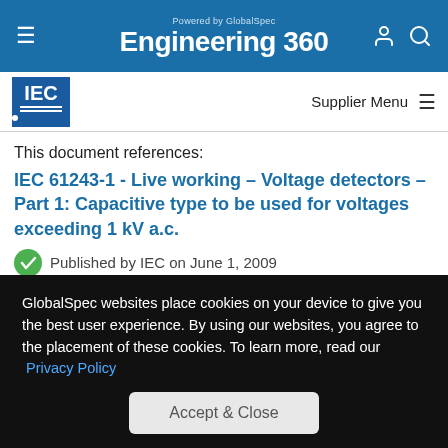Powered by GlobalSpec Engineering 360
Supplier Menu
This document references:
IEC 61243-1 - Live working – Voltage detectors – Part 1: Capacitive type to be used for voltages exceeding 1 kV a.c.
Published by IEC on June 1, 2009
This part of IEC 61243 is applicable to portable voltage detectors, with or without built-in power sources, to be used on electrical systems for voltages of 1 kV to 765 kV a.c., and
GlobalSpec websites place cookies on your device to give you the best user experience. By using our websites, you agree to the placement of these cookies. To learn more, read our Privacy Policy
Accept & Close